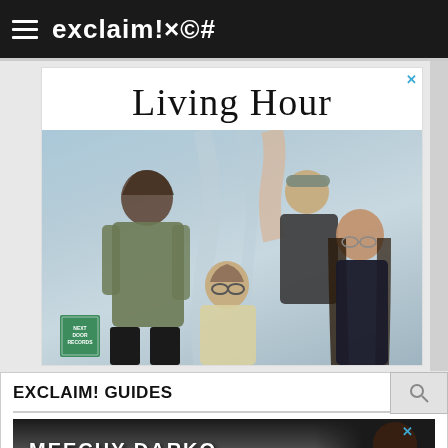exclaim!×©#
[Figure (photo): Advertisement for Living Hour – four band members posed against a light blue draped fabric background. Text 'Living Hour' in large serif font at top. Bottom left corner shows a green 'Next Door Records' label.]
EXCLAIM! GUIDES
[Figure (photo): Advertisement banner showing 'MEECHY DARKO' text in handwritten style over a dark background with a person's image. Below reads 'SUMMER FESTIVAL GUIDE'.]